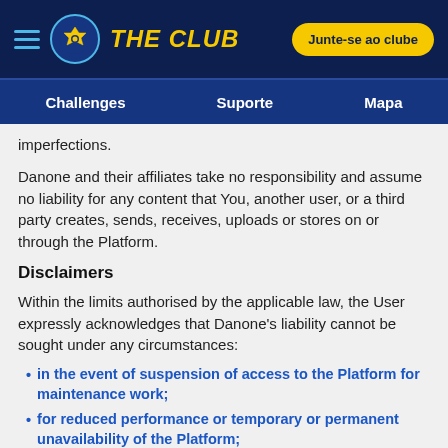THE CLUB — Junte-se ao clube
Challenges   Suporte   Mapa
imperfections.
Danone and their affiliates take no responsibility and assume no liability for any content that You, another user, or a third party creates, sends, receives, uploads or stores on or through the Platform.
Disclaimers
Within the limits authorised by the applicable law, the User expressly acknowledges that Danone's liability cannot be sought under any circumstances:
in the event of suspension of access to the Platform for maintenance work;
for reduced performance or temporary or permanent unavailability of the Platform;
in the event of suspension or closure of the Platform, under the conditions set out herein;